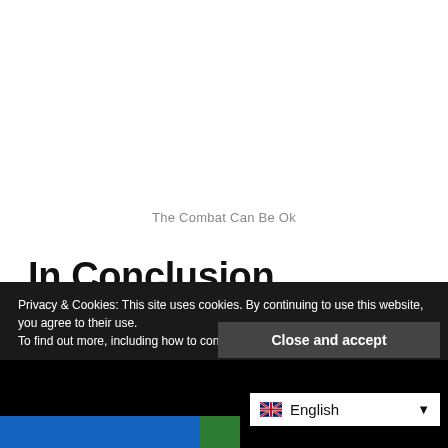The Combat Can Be Ok
In Conclusion
I will forever be confounded that this game exists as it does. With texture-work that would look at home PS2 and RPG mechanics that could go back even further it feels like a relic. There is nothing egregiously wrong
Privacy & Cookies: This site uses cookies. By continuing to use this website, you agree to their use.
To find out more, including how to control cookies, see here: Cookie Policy
Close and accept
English